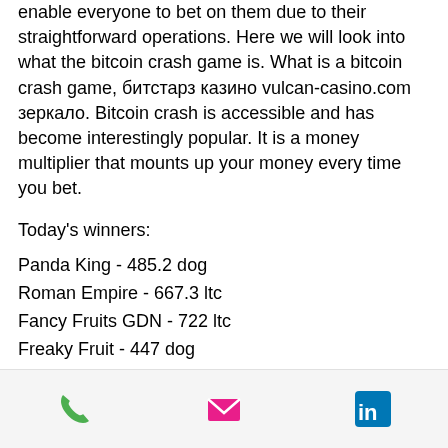enable everyone to bet on them due to their straightforward operations. Here we will look into what the bitcoin crash game is. What is a bitcoin crash game, битстарз казино vulcan-casino.com зеркало. Bitcoin crash is accessible and has become interestingly popular. It is a money multiplier that mounts up your money every time you bet.
Today's winners:
Panda King - 485.2 dog
Roman Empire - 667.3 ltc
Fancy Fruits GDN - 722 ltc
Freaky Fruit - 447 dog
Football Star - 208.8 bch
Merlins Magic Respins Christmas - 579.3 ltc
GrandX - 520 bch
Lucky Clover - 573.9 btc
Exotic Fruit Deluxe - 362.4 usdt
phone | email | linkedin